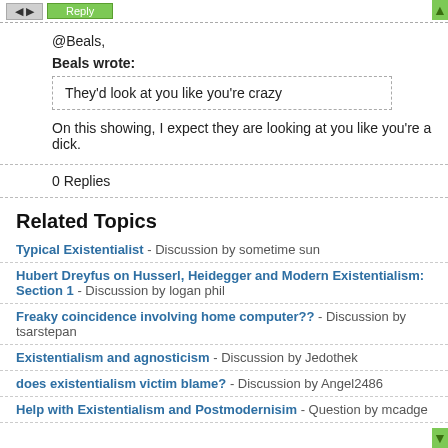@Beals,

Beals wrote:
They'd look at you like you're crazy

On this showing, I expect they are looking at you like you're a dick.
0 Replies
Related Topics
Typical Existentialist - Discussion by sometime sun
Hubert Dreyfus on Husserl, Heidegger and Modern Existentialism: Section 1 - Discussion by logan phil
Freaky coincidence involving home computer?? - Discussion by tsarstepan
Existentialism and agnosticism - Discussion by Jedothek
does existentialism victim blame? - Discussion by Angel2486
Help with Existentialism and Postmodernisim - Question by mcadge